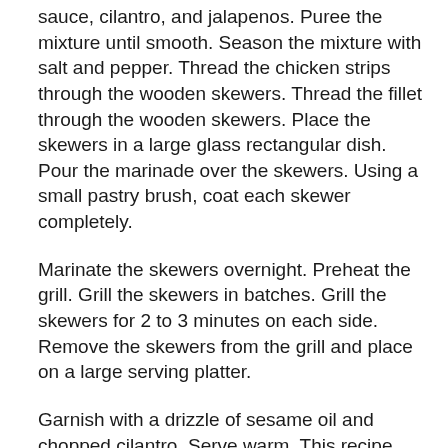sauce, cilantro, and jalapenos. Puree the mixture until smooth. Season the mixture with salt and pepper. Thread the chicken strips through the wooden skewers. Thread the fillet through the wooden skewers. Place the skewers in a large glass rectangular dish. Pour the marinade over the skewers. Using a small pastry brush, coat each skewer completely.
Marinate the skewers overnight. Preheat the grill. Grill the skewers in batches. Grill the skewers for 2 to 3 minutes on each side. Remove the skewers from the grill and place on a large serving platter.
Garnish with a drizzle of sesame oil and chopped cilantro. Serve warm. This recipe yields 2 dozen skewers.
Recipe Source: EMERIL LIVE with Emeril Lagasse From the TV FOOD NETWORK - (Show # EM-1B14 broadcast 02-02-1998) Downloaded from their Web-Site -